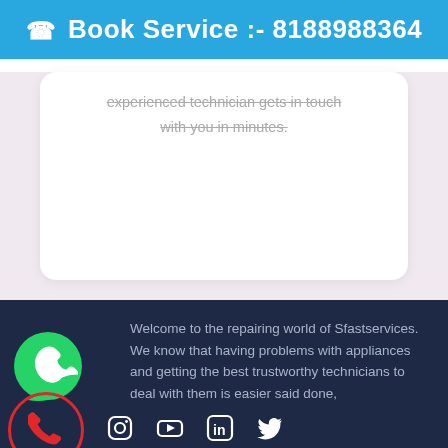Book Service :- 8188988364
experienced technician gets in touch with you in minutes.
Welcome to the repairing world of Sfastservices. We know that having problems with appliances and getting the best trustworthy technicians to deal with them is easier said done,
[Figure (infographic): Social media icons row: WhatsApp floating icon, phone call circle icon (red border), Instagram, YouTube, LinkedIn, Twitter icons in white on dark navy background]